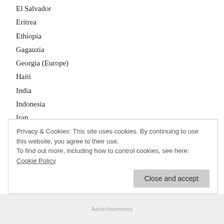El Salvador
Eritrea
Ethiopia
Gagauzia
Georgia (Europe)
Haiti
India
Indonesia
Iran
Iraq
Israel
Kaliningrad
Kosovo
Kurdistan (Iraq)
Kurdistan (Turkey)
Laos
Lebanon
Privacy & Cookies: This site uses cookies. By continuing to use this website, you agree to their use. To find out more, including how to control cookies, see here: Cookie Policy
Close and accept